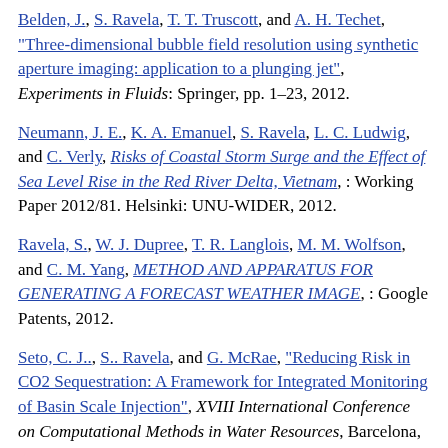Belden, J., S. Ravela, T. T. Truscott, and A. H. Techet, "Three-dimensional bubble field resolution using synthetic aperture imaging: application to a plunging jet", Experiments in Fluids: Springer, pp. 1–23, 2012.
Neumann, J. E., K. A. Emanuel, S. Ravela, L. C. Ludwig, and C. Verly, Risks of Coastal Storm Surge and the Effect of Sea Level Rise in the Red River Delta, Vietnam, : Working Paper 2012/81. Helsinki: UNU-WIDER, 2012.
Ravela, S., W. J. Dupree, T. R. Langlois, M. M. Wolfson, and C. M. Yang, METHOD AND APPARATUS FOR GENERATING A FORECAST WEATHER IMAGE, : Google Patents, 2012.
Seto, C. J.., S.. Ravela, and G. McRae, "Reducing Risk in CO2 Sequestration: A Framework for Integrated Monitoring of Basin Scale Injection", XVIII International Conference on Computational Methods in Water Resources, Barcelona, Spain, 06/2010.
Seto, C. J.., and S.. Ravela, "Differential Image Analysis...